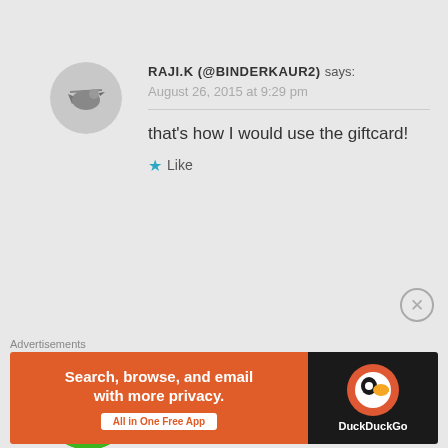[Figure (illustration): Small bird avatar for user RAJI.K]
RAJI.K (@BINDERKAUR2) says:
August 26, 2015 at 9:29 pm
that's how I would use the giftcard!
★ Like
[Figure (illustration): Green geometric pattern avatar for user REBBY]
REBBY says:
August 26, 2015 at 9:33 pm
↩ Reply
Follow @MaryinVancity and
Advertisements
[Figure (illustration): DuckDuckGo advertisement banner: Search, browse, and email with more privacy. All in One Free App.]